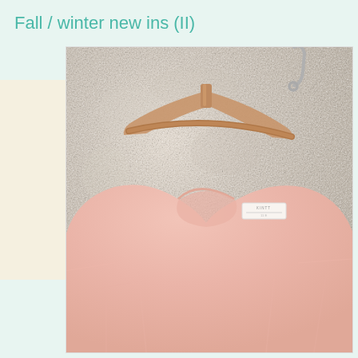Fall / winter new ins (II)
[Figure (photo): A soft pink fuzzy knit sweater hanging on a wooden hanger against a textured off-white wall. The sweater has a round neckline and a small clothing label visible near the collar. The photo is cropped to show mainly the upper portion of the sweater and the hanger.]